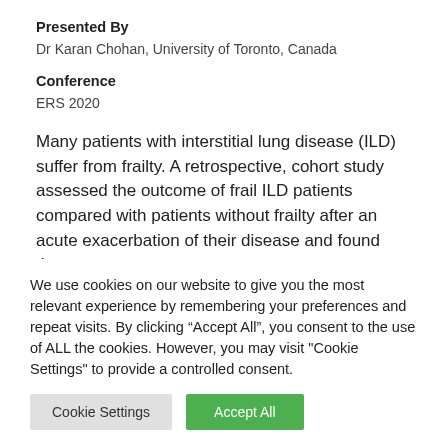Presented By
Dr Karan Chohan, University of Toronto, Canada
Conference
ERS 2020
Many patients with interstitial lung disease (ILD) suffer from frailty. A retrospective, cohort study assessed the outcome of frail ILD patients compared with patients without frailty after an acute exacerbation of their disease and found that
We use cookies on our website to give you the most relevant experience by remembering your preferences and repeat visits. By clicking “Accept All”, you consent to the use of ALL the cookies. However, you may visit "Cookie Settings" to provide a controlled consent.